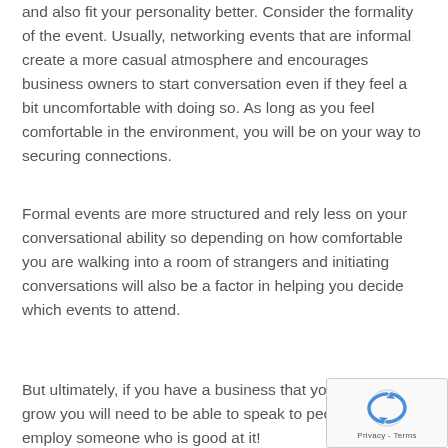and also fit your personality better. Consider the formality of the event. Usually, networking events that are informal create a more casual atmosphere and encourages business owners to start conversation even if they feel a bit uncomfortable with doing so. As long as you feel comfortable in the environment, you will be on your way to securing connections.
Formal events are more structured and rely less on your conversational ability so depending on how comfortable you are walking into a room of strangers and initiating conversations will also be a factor in helping you decide which events to attend.
But ultimately, if you have a business that you want to grow you will need to be able to speak to people – at least employ someone who is good at it!